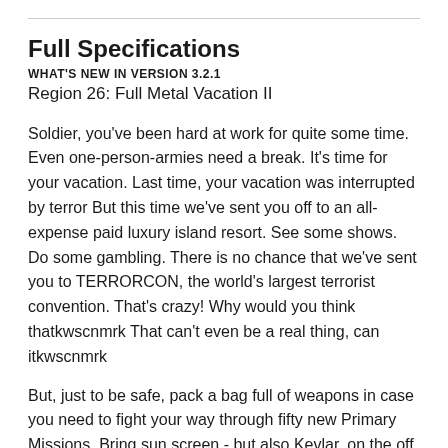Full Specifications
WHAT'S NEW IN VERSION 3.2.1
Region 26: Full Metal Vacation II
Soldier, you've been hard at work for quite some time. Even one-person-armies need a break. It's time for your vacation. Last time, your vacation was interrupted by terror But this time we've sent you off to an all-expense paid luxury island resort. See some shows. Do some gambling. There is no chance that we've sent you to TERRORCON, the world's largest terrorist convention. That's crazy! Why would you think thatkwscnmrk That can't even be a real thing, can itkwscnmrk
But, just to be safe, pack a bag full of weapons in case you need to fight your way through fifty new Primary Missions. Bring sun screen - but also Kevlar, on the off chance you